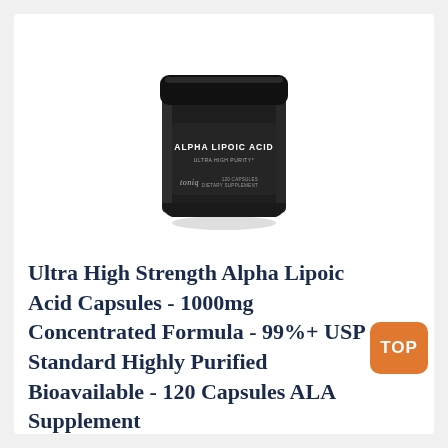[Figure (photo): A dark matte black cylindrical supplement jar labeled 'ALPHA LIPOIC ACID' with subtitle 'ULTRA HIGH PURITY*', brand name 'toniq' on the lower left, and '120 CAPSULES DIETARY SUPPLEMENT' on the lower right. The jar has a black lid and sits on a white background with a subtle shadow.]
Ultra High Strength Alpha Lipoic Acid Capsules - 1000mg Concentrated Formula - 99%+ USP Standard Highly Purified Bioavailable - 120 Capsules ALA Supplement